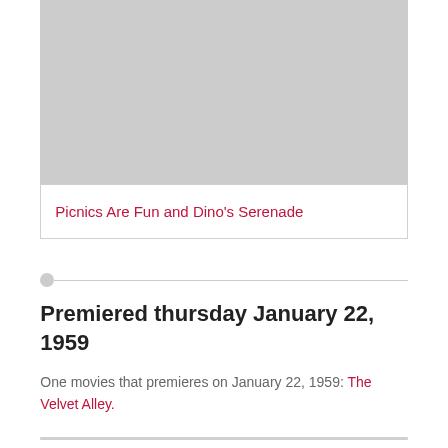[Figure (photo): Gray placeholder image box at the top of the page]
Picnics Are Fun and Dino's Serenade
Premiered thursday January 22, 1959
One movies that premieres on January 22, 1959: The Velvet Alley.